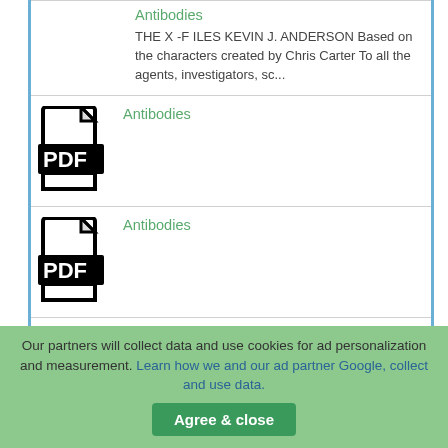Antibodies
THE X -F ILES KEVIN J. ANDERSON Based on the characters created by Chris Carter To all the agents, investigators, sc...
[Figure (illustration): PDF file icon with document shape and 'PDF' label in bold]
Antibodies
[Figure (illustration): PDF file icon with document shape and 'PDF' label in bold]
Antibodies
Antibodies
ANTIBODIES Charles Stross Although he...
Our partners will collect data and use cookies for ad personalization and measurement. Learn how we and our ad partner Google, collect and use data.
Agree & close